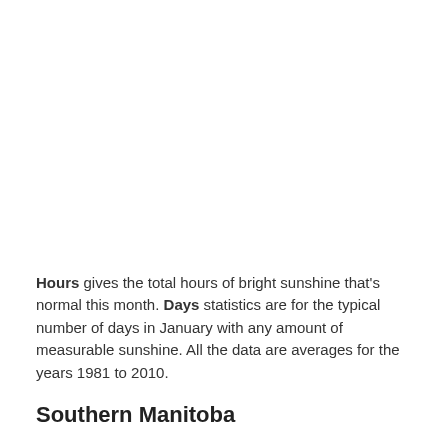Hours gives the total hours of bright sunshine that's normal this month. Days statistics are for the typical number of days in January with any amount of measurable sunshine. All the data are averages for the years 1981 to 2010.
Southern Manitoba